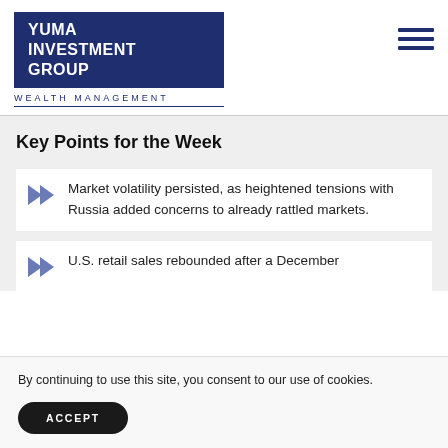[Figure (logo): Yuma Investment Group Wealth Management logo — dark navy blue rectangle with white bold text reading YUMA INVESTMENT GROUP, and below it WEALTH MANAGEMENT in spaced navy letters]
Key Points for the Week
Market volatility persisted, as heightened tensions with Russia added concerns to already rattled markets.
U.S. retail sales rebounded after a December
By continuing to use this site, you consent to our use of cookies.